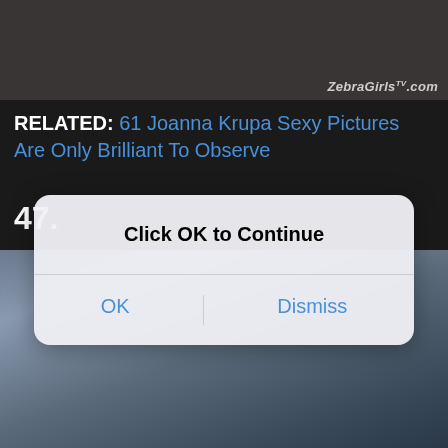[Figure (photo): Partial view of legs/feet on a surface, dark background, with ZebraGirls.com watermark in bottom right corner]
RELATED: 61 Joanna Krupa Sexy Pictures Are Only Brilliant To Observe
47.
[Figure (screenshot): iOS-style modal dialog overlaying the page with title 'Click OK to Continue' and two buttons: OK and Dismiss]
[Figure (photo): Young woman with long wavy hair wearing black crop top and blue jeans, sitting on a bed in a room with shuttered blinds]